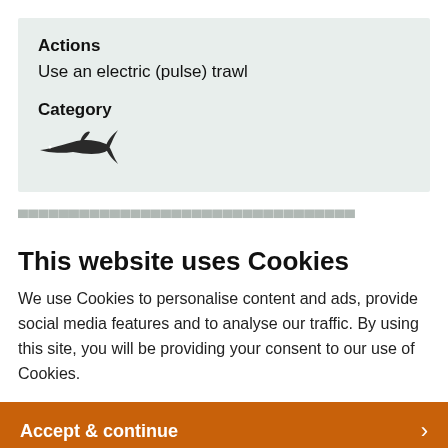Actions
Use an electric (pulse) trawl
Category
[Figure (illustration): A black silhouette icon of a shark pointing left]
This website uses Cookies
We use Cookies to personalise content and ads, provide social media features and to analyse our traffic. By using this site, you will be providing your consent to our use of Cookies.
Accept & continue